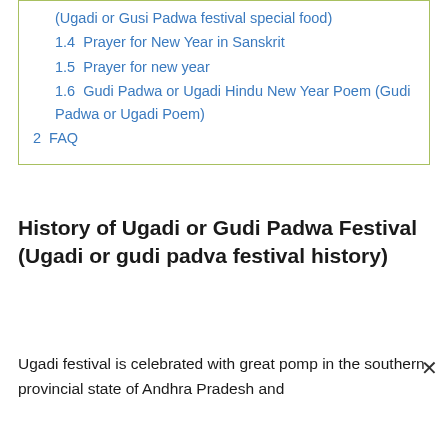(Ugadi or Gusi Padwa festival special food)
1.4  Prayer for New Year in Sanskrit
1.5  Prayer for new year
1.6  Gudi Padwa or Ugadi Hindu New Year Poem (Gudi Padwa or Ugadi Poem)
2  FAQ
History of Ugadi or Gudi Padwa Festival (Ugadi or gudi padva festival history)
Ugadi festival is celebrated with great pomp in the southern provincial state of Andhra Pradesh and